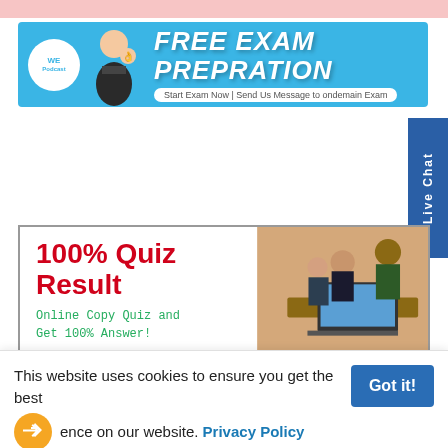[Figure (screenshot): Top pink bar strip]
[Figure (infographic): Free Exam Prepration banner with blue background, WE Podcast circle logo, bold white italic text 'FREE EXAM PREPRATION', subtitle 'Start Exam Now | Send Us Message to ondemain Exam']
[Figure (screenshot): Live Chat vertical blue sidebar button on right side]
[Figure (infographic): 100% Quiz Result banner: red bold text '100% Quiz Result', green monospace text 'Online Copy Quiz and Get 100% Answer!', blue spaced text 'C y b e r i a n', with photo of students on laptop on right]
This website uses cookies to ensure you get the best experience on our website. Privacy Policy
[Figure (other): Orange circular share/forward icon]